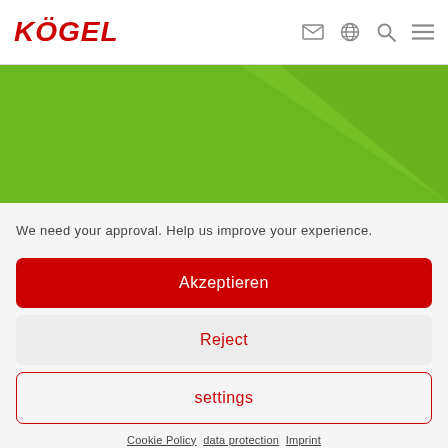KÖGEL
[Figure (illustration): Green gradient banner image with diagonal lighter green shape on right side]
We need your approval. Help us improve your experience.
Akzeptieren
Reject
settings
Cookie Policy   data protection   Imprint